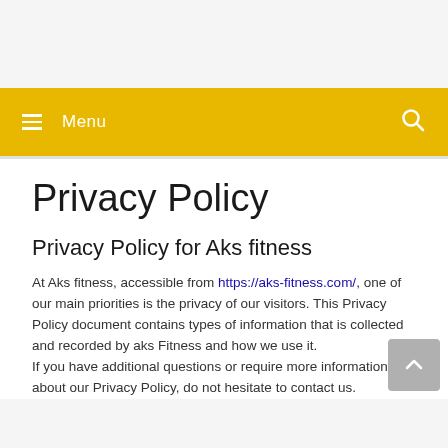Menu
Privacy Policy
Privacy Policy for Aks fitness
At Aks fitness, accessible from https://aks-fitness.com/, one of our main priorities is the privacy of our visitors. This Privacy Policy document contains types of information that is collected and recorded by aks Fitness and how we use it.
If you have additional questions or require more information about our Privacy Policy, do not hesitate to contact us.